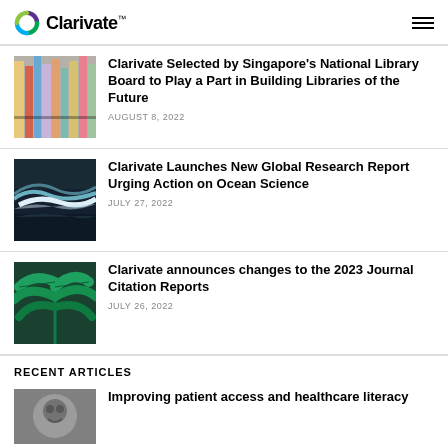Clarivate
[Figure (photo): Colorful books on shelves]
Clarivate Selected by Singapore's National Library Board to Play a Part in Building Libraries of the Future
AUGUST 8, 2022
[Figure (photo): Ocean waves on dark rocks]
Clarivate Launches New Global Research Report Urging Action on Ocean Science
JULY 27, 2022
[Figure (photo): Green tropical palm leaves]
Clarivate announces changes to the 2023 Journal Citation Reports
JULY 26, 2022
RECENT ARTICLES
[Figure (photo): Grayscale close-up photo]
Improving patient access and healthcare literacy